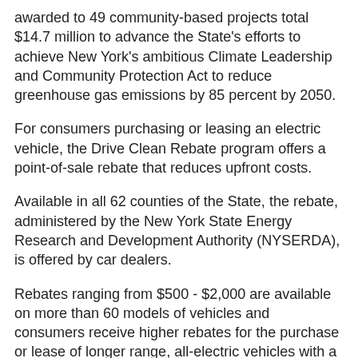awarded to 49 community-based projects total $14.7 million to advance the State's efforts to achieve New York's ambitious Climate Leadership and Community Protection Act to reduce greenhouse gas emissions by 85 percent by 2050.
For consumers purchasing or leasing an electric vehicle, the Drive Clean Rebate program offers a point-of-sale rebate that reduces upfront costs.
Available in all 62 counties of the State, the rebate, administered by the New York State Energy Research and Development Authority (NYSERDA), is offered by car dealers.
Rebates ranging from $500 - $2,000 are available on more than 60 models of vehicles and consumers receive higher rebates for the purchase or lease of longer range, all-electric vehicles with a base Manufacturer Suggested Retail Price of less than $42,000. ■